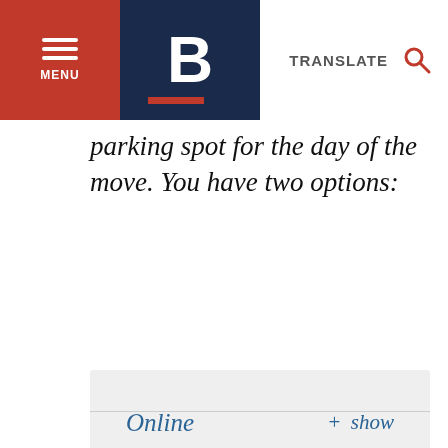MENU | B | TRANSLATE
parking spot for the day of the move. You have two options:
Online   + show
Apply in person   + show